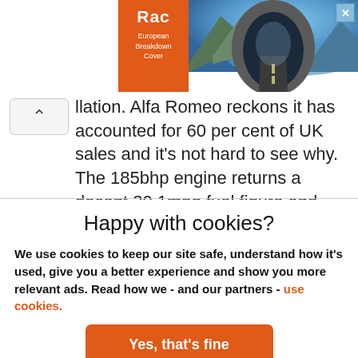[Figure (photo): RAC European Breakdown Cover advertisement banner with orange RAC logo on the left and a scenic tunnel/road photo on the right]
llation. Alfa Romeo reckons it has accounted for 60 per cent of UK sales and it's not hard to see why. The 185bhp engine returns a decent 30.1mpg fuel figure and emissions aren't unreasonable at 221g/km. If you're not all about cornering a car on its door handles, then this makes a very interesting choice. With rear seats that will
Happy with cookies?
We use cookies to keep our site safe, understand how it's used, give you a better experience and show you more relevant ads. Read how we - and our partners - use cookies.
Yes, that's fine
No, manage cookies